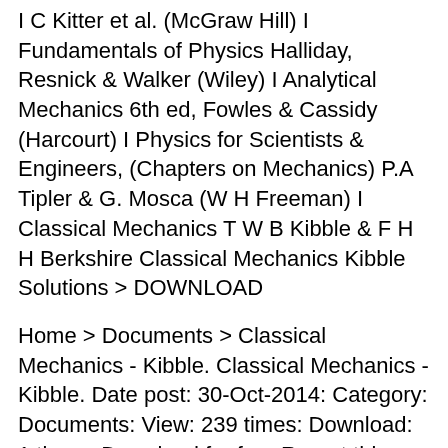I C Kitter et al. (McGraw Hill) I Fundamentals of Physics Halliday, Resnick & Walker (Wiley) I Analytical Mechanics 6th ed, Fowles & Cassidy (Harcourt) I Physics for Scientists & Engineers, (Chapters on Mechanics) P.A Tipler & G. Mosca (W H Freeman) I Classical Mechanics T W B Kibble & F H H Berkshire Classical Mechanics Kibble Solutions > DOWNLOAD
Home > Documents > Classical Mechanics - Kibble. Classical Mechanics - Kibble. Date post: 30-Oct-2014: Category: Documents: View: 239 times: Download: 1 times: Download for free Report this document. Share this document with a friend. Transcript: I